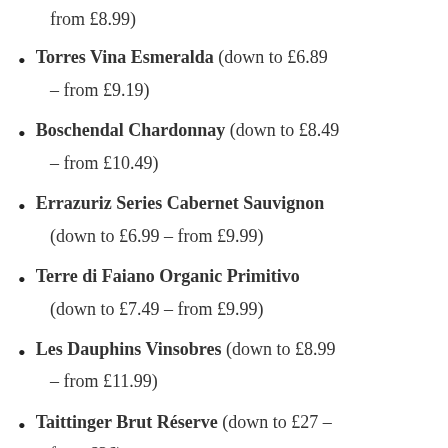from £8.99)
Torres Vina Esmeralda (down to £6.89 – from £9.19)
Boschendal Chardonnay (down to £8.49 – from £10.49)
Errazuriz Series Cabernet Sauvignon (down to £6.99 – from £9.99)
Terre di Faiano Organic Primitivo (down to £7.49 – from £9.99)
Les Dauphins Vinsobres (down to £8.99 – from £11.99)
Taittinger Brut Réserve (down to £27 – from £36)